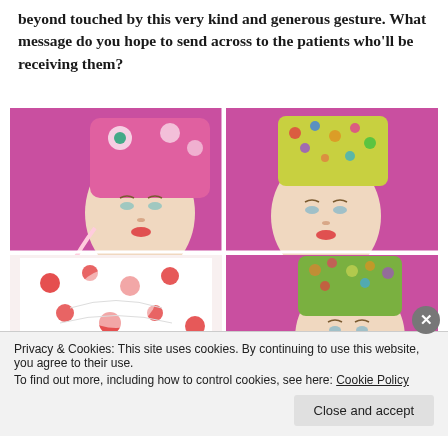beyond touched by this very kind and generous gesture. What message do you hope to send across to the patients who'll be receiving them?
[Figure (photo): A 2x2 grid of photos showing mannequin heads wearing colorful head scarves/caps on a pink background. Top-left: pink floral cap. Top-right: multicolor floral cap. Bottom-left: white cap with red polka dots. Bottom-right: green floral cap.]
Privacy & Cookies: This site uses cookies. By continuing to use this website, you agree to their use. To find out more, including how to control cookies, see here: Cookie Policy
Close and accept